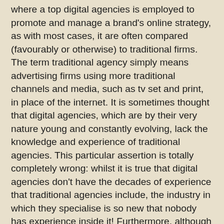where a top digital agencies is employed to promote and manage a brand's online strategy, as with most cases, it are often compared (favourably or otherwise) to traditional firms. The term traditional agency simply means advertising firms using more traditional channels and media, such as tv set and print, in place of the internet. It is sometimes thought that digital agencies, which are by their very nature young and constantly evolving, lack the knowledge and experience of traditional agencies. This particular assertion is totally completely wrong: whilst it is true that digital agencies don't have the decades of experience that traditional agencies include, the industry in which they specialise is so new that nobody has experience inside it! Furthermore, although it is a mistake to assume that all principles of traditional marketing and advertising can easily be applied to digital marketing, it ought to be remembered that many of the most successful digital marketers and advertisers came from traditional agencies bringing with them much experience. Whilst these people understand traditional advertising and marketing techniques, they do not seek to form the internet to fit these approaches: they seek to form their approaches to fit the internet and the consumer.